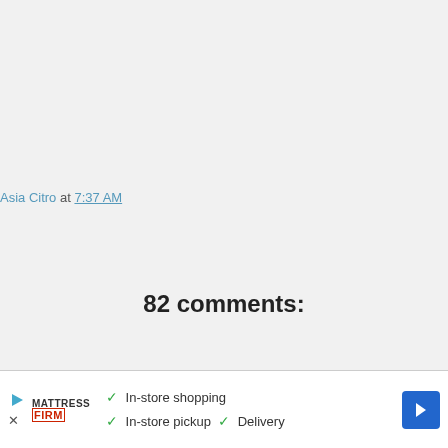Asia Citro at 7:37 AM
82 comments:
April 29, 2013 at 2:10 PM
[Figure (screenshot): Advertisement banner for Mattress Firm showing checkmarks for In-store shopping, In-store pickup, and Delivery with a blue arrow icon]